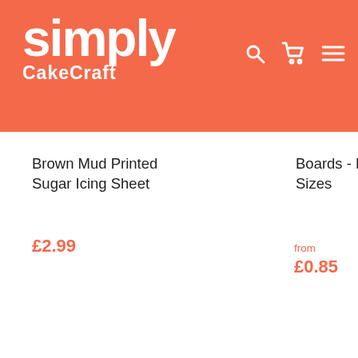[Figure (logo): Simply Cake Craft logo in white text on coral/orange background with search, cart, and menu icons]
Brown Mud Printed Sugar Icing Sheet
£2.99
Boards - Range of Sizes
from £0.85
Sizes -
from £0.
Products
Sprinkles Menu
Shop by Theme
Gift Card